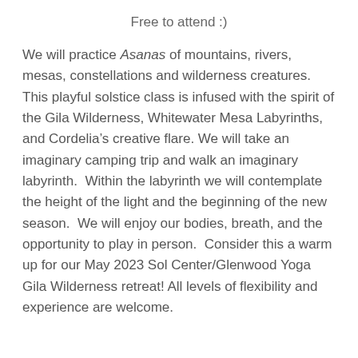Free to attend :)
We will practice Asanas of mountains, rivers, mesas, constellations and wilderness creatures.  This playful solstice class is infused with the spirit of the Gila Wilderness, Whitewater Mesa Labyrinths, and Cordelia’s creative flare. We will take an imaginary camping trip and walk an imaginary labyrinth.  Within the labyrinth we will contemplate the height of the light and the beginning of the new season.  We will enjoy our bodies, breath, and the opportunity to play in person.  Consider this a warm up for our May 2023 Sol Center/Glenwood Yoga Gila Wilderness retreat! All levels of flexibility and experience are welcome.